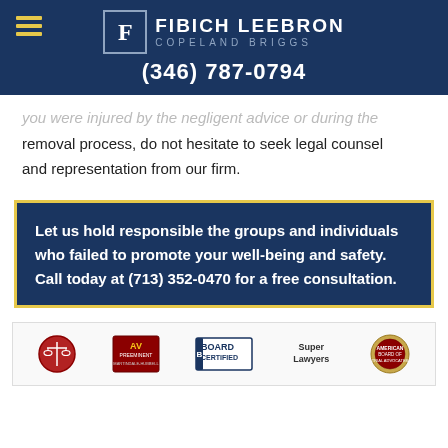FIBICH LEEBRON COPELAND BRIGGS | (346) 787-0794
you were injured by the negligent advice or during the removal process, do not hesitate to seek legal counsel and representation from our firm.
Let us hold responsible the groups and individuals who failed to promote your well-being and safety. Call today at (713) 352-0470 for a free consultation.
[Figure (logo): Row of five credential/association badges: scales of justice, AV Preeminent, Board Certified, Super Lawyers, American Board of Trial Advocates]